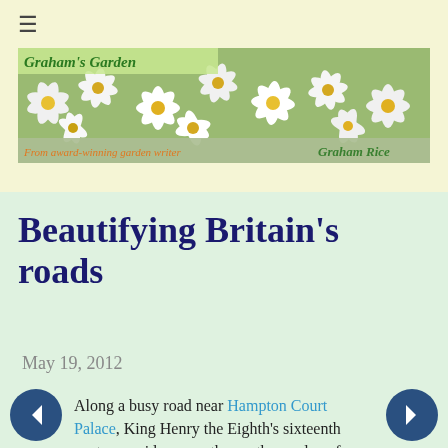≡
[Figure (illustration): Graham's Garden banner with white and yellow daisy flowers. Top-left green text reads 'Graham's Garden'. Bottom bar with orange italic text 'From award-winning garden writer' and green text 'Graham Rice' on the right.]
Beautifying Britain's roads
May 19, 2012
Along a busy road near Hampton Court Palace, King Henry the Eighth's sixteenth century residence on the southern edge of London, there